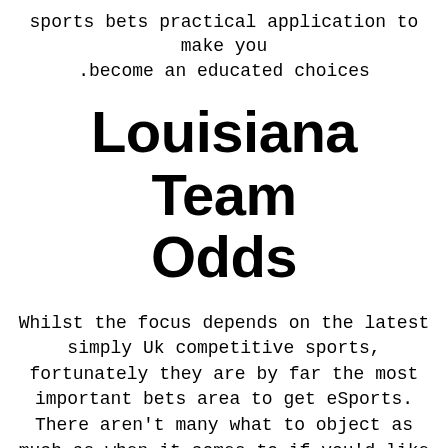sports bets practical application to make you become an educated choices.
Louisiana Team Odds
Whilst the focus depends on the latest simply Uk competitive sports, fortunately they are by far the most important bets area to get eSports. There aren't many what to object as much as when it comes to if you'd like to Betway's sports activities gaming, nevertheless fantastic may very well see them burn out to some objectives. ÞkBet ended up being offered